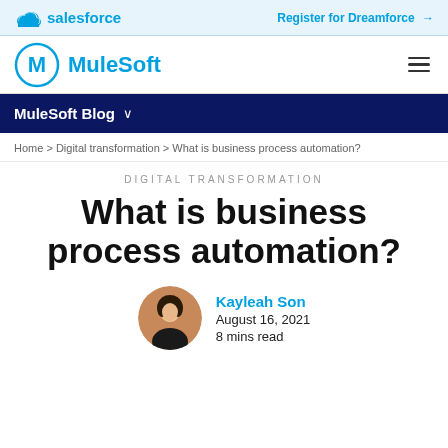salesforce   Register for Dreamforce →
MuleSoft  ☰
MuleSoft Blog ∨
Home > Digital transformation > What is business process automation?
DIGITAL TRANSFORMATION
What is business process automation?
Kayleah Son
August 16, 2021
8 mins read